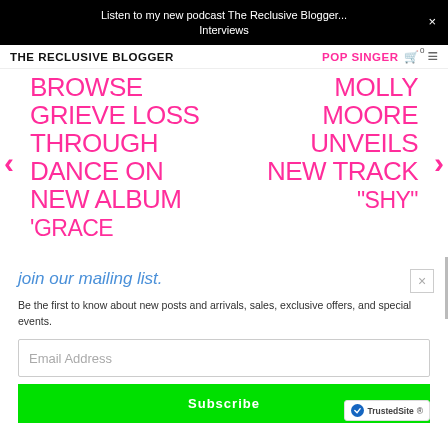Listen to my new podcast The Reclusive Blogger... Interviews
THE RECLUSIVE BLOGGER
POP SINGER BROWSE GRIEVE LOSS THROUGH DANCE ON NEW ALBUM 'GRACE MOLLY MOORE UNVEILS NEW TRACK "SHY"
join our mailing list.
Be the first to know about new posts and arrivals, sales, exclusive offers, and special events.